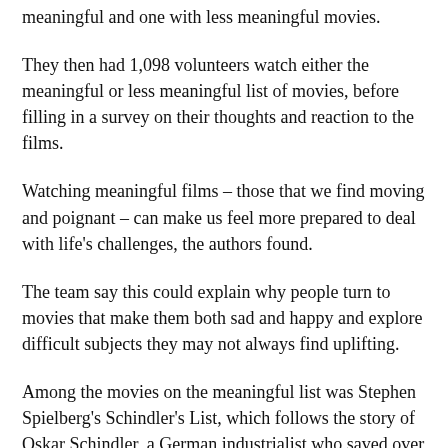meaningful and one with less meaningful movies.
They then had 1,098 volunteers watch either the meaningful or less meaningful list of movies, before filling in a survey on their thoughts and reaction to the films.
Watching meaningful films – those that we find moving and poignant – can make us feel more prepared to deal with life's challenges, the authors found.
The team say this could explain why people turn to movies that make them both sad and happy and explore difficult subjects they may not always find uplifting.
Among the movies on the meaningful list was Stephen Spielberg's Schindler's List, which follows the story of Oskar Schindler, a German industrialist who saved over 1,000 mostly Polish-Jewish refugees from the Holocaust.
Researchers found that when people recall watching